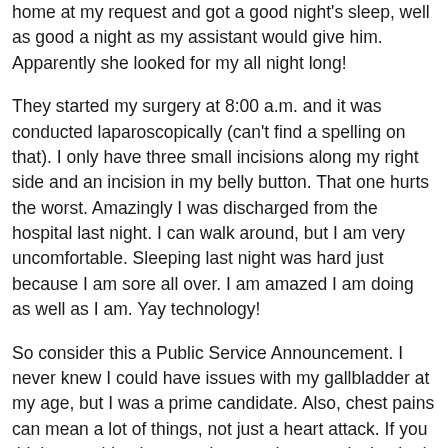home at my request and got a good night's sleep, well as good a night as my assistant would give him. Apparently she looked for my all night long!
They started my surgery at 8:00 a.m. and it was conducted laparoscopically (can't find a spelling on that). I only have three small incisions along my right side and an incision in my belly button. That one hurts the worst. Amazingly I was discharged from the hospital last night. I can walk around, but I am very uncomfortable. Sleeping last night was hard just because I am sore all over. I am amazed I am doing as well as I am. Yay technology!
So consider this a Public Service Announcement. I never knew I could have issues with my gallbladder at my age, but I was a prime candidate. Also, chest pains can mean a lot of things, not just a heart attack. If you think something is wrong in your chest, get it checked out! I am lucky I went in as soon as I did because if the stones had gotten out they could have caused complications with my pancreas or other issues.